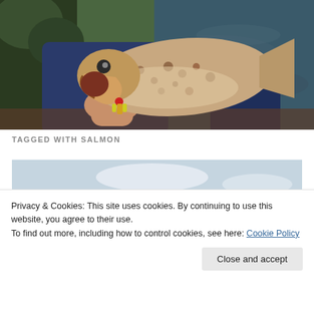[Figure (photo): Person holding a large brown trout with mouth open, sitting in a boat on a river with green vegetation in background]
TAGGED WITH SALMON
[Figure (photo): Partial view of a second fishing photo, mostly obscured by cookie banner]
Privacy & Cookies: This site uses cookies. By continuing to use this website, you agree to their use.
To find out more, including how to control cookies, see here: Cookie Policy
Close and accept